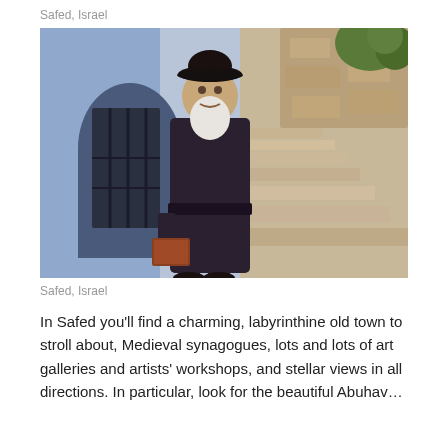Safed, Israel
[Figure (photo): An elderly bearded Jewish man wearing a black coat and black bowler hat, holding a book, standing in front of a blue-painted arched doorway in the old city of Safed, Israel. Stone steps lead up to the right, with stone buildings in the background.]
Safed, Israel
In Safed you'll find a charming, labyrinthine old town to stroll about, Medieval synagogues, lots and lots of art galleries and artists' workshops, and stellar views in all directions. In particular, look for the beautiful Abuhav...